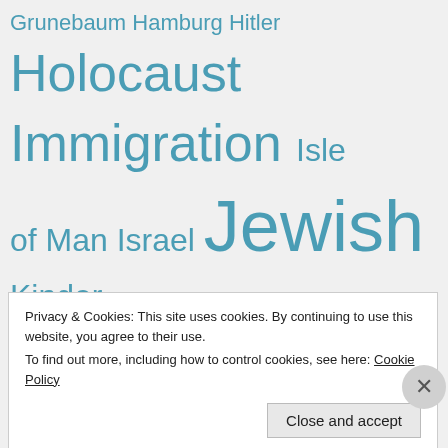Grunebaum Hamburg Hitler Holocaust Immigration Isle of Man Israel Jewish Kinder Transport Military Netherlands Scandals Shoah South America Steinham Stores Tree UK Villa WWI WWII
Privacy & Cookies: This site uses cookies. By continuing to use this website, you agree to their use. To find out more, including how to control cookies, see here: Cookie Policy
Close and accept